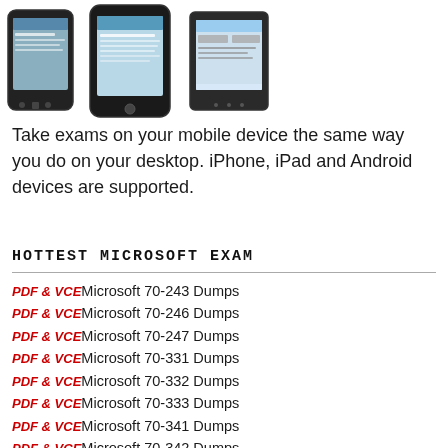[Figure (photo): Three mobile phones (Android, iPhone, Windows Phone) shown side by side displaying exam software screens]
Take exams on your mobile device the same way you do on your desktop. iPhone, iPad and Android devices are supported.
HOTTEST MICROSOFT EXAM
PDF & VCE Microsoft 70-243 Dumps
PDF & VCE Microsoft 70-246 Dumps
PDF & VCE Microsoft 70-247 Dumps
PDF & VCE Microsoft 70-331 Dumps
PDF & VCE Microsoft 70-332 Dumps
PDF & VCE Microsoft 70-333 Dumps
PDF & VCE Microsoft 70-341 Dumps
PDF & VCE Microsoft 70-342 Dumps
PDF & VCE Microsoft 70-346 Dumps
PDF & VCE Microsoft 70-347 Dumps